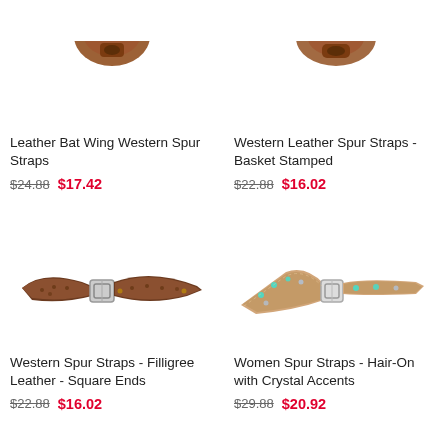[Figure (photo): Leather Bat Wing Western Spur Straps product image (partial, top cut off)]
Leather Bat Wing Western Spur Straps
$24.88  $17.42
[Figure (photo): Western Leather Spur Straps - Basket Stamped product image (partial, top cut off)]
Western Leather Spur Straps - Basket Stamped
$22.88  $16.02
[Figure (photo): Western Spur Straps - Filligree Leather - Square Ends, brown leather with buckle]
Western Spur Straps - Filligree Leather - Square Ends
$22.88  $16.02
[Figure (photo): Women Spur Straps - Hair-On with Crystal Accents, tan leather with turquoise crystals and buckle]
Women Spur Straps - Hair-On with Crystal Accents
$29.88  $20.92